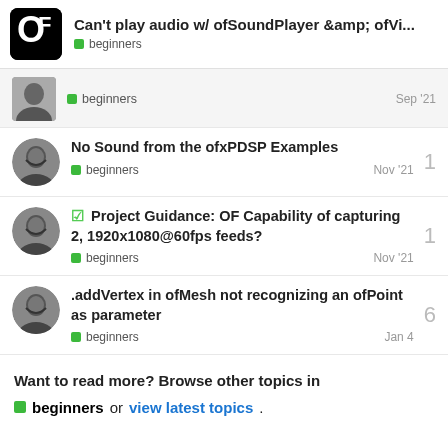Can't play audio w/ ofSoundPlayer &amp; ofVi... | beginners
No Sound from the ofxPDSP Examples | beginners | Nov '21 | 1 reply
Project Guidance: OF Capability of capturing 2, 1920x1080@60fps feeds? | beginners | Nov '21 | 1 reply
.addVertex in ofMesh not recognizing an ofPoint as parameter | beginners | Jan 4 | 6 replies
Want to read more? Browse other topics in beginners or view latest topics.